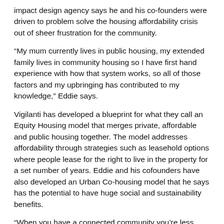impact design agency says he and his co-founders were driven to problem solve the housing affordability crisis out of sheer frustration for the community.
“My mum currently lives in public housing, my extended family lives in community housing so I have first hand experience with how that system works, so all of those factors and my upbringing has contributed to my knowledge,” Eddie says.
Vigilanti has developed a blueprint for what they call an Equity Housing model that merges private, affordable and public housing together. The model addresses affordability through strategies such as leasehold options where people lease for the right to live in the property for a set number of years. Eddie and his cofounders have also developed an Urban Co-housing model that he says has the potential to have huge social and sustainability benefits.
“When you have a connected community you’re less likely to have depression, you’re more likely to stay active and for the elderly you’re less likely to have an accident where you’re unattended for a long period of time.” Eddie says.